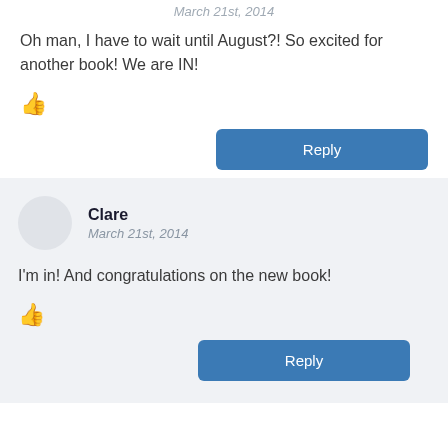March 21st, 2014
Oh man, I have to wait until August?! So excited for another book! We are IN!
👍
Reply
Clare
March 21st, 2014
I'm in! And congratulations on the new book!
👍
Reply